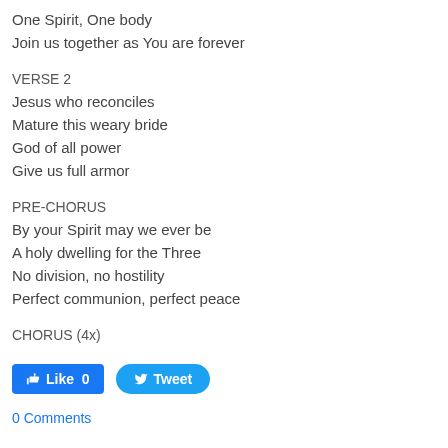One Spirit, One body
Join us together as You are forever
VERSE 2
Jesus who reconciles
Mature this weary bride
God of all power
Give us full armor
PRE-CHORUS
By your Spirit may we ever be
A holy dwelling for the Three
No division, no hostility
Perfect communion, perfect peace
CHORUS (4x)
[Figure (other): Facebook Like button (count: 0) and Twitter Tweet button]
0 Comments